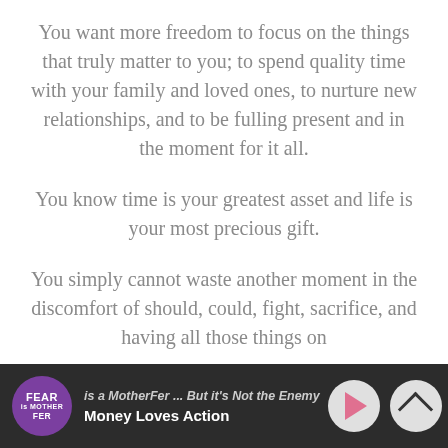You want more freedom to focus on the things that truly matter to you; to spend quality time with your family and loved ones, to nurture new relationships, and to be fulling present and in the moment for it all.
You know time is your greatest asset and life is your most precious gift.
You simply cannot waste another moment in the discomfort of should, could, fight, sacrifice, and having all those things on
is a MotherFer ... But it's Not the Enemy | Money Loves Action